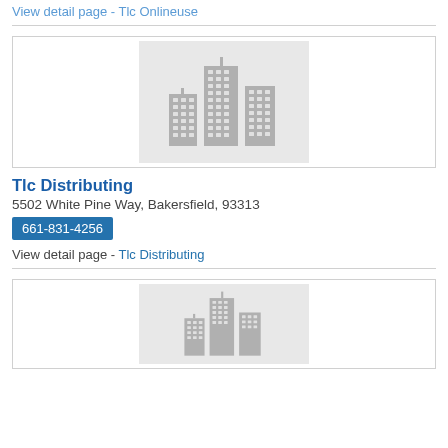View detail page - Tlc Onlineuse
[Figure (illustration): Building skyline placeholder icon on grey background]
Tlc Distributing
5502 White Pine Way, Bakersfield, 93313
661-831-4256
View detail page - Tlc Distributing
[Figure (illustration): Building skyline placeholder icon on grey background]